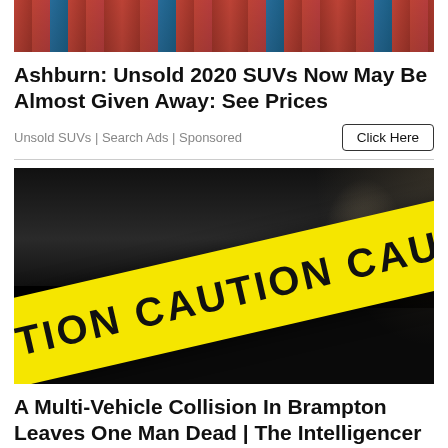[Figure (photo): Aerial view of a parking lot full of red and blue cars]
Ashburn: Unsold 2020 SUVs Now May Be Almost Given Away: See Prices
Unsold SUVs | Search Ads | Sponsored
Click Here
[Figure (photo): Yellow caution tape reading CAUTION CAUTION CAUTION stretched across a dark background]
A Multi-Vehicle Collision In Brampton Leaves One Man Dead | The Intelligencer